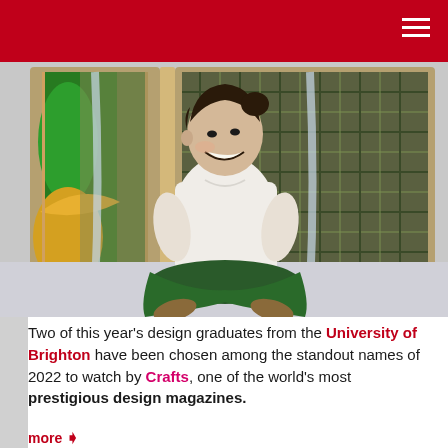University of Brighton website header
[Figure (photo): A young woman with dark hair sitting cross-legged on the floor in front of a decorative folding screen/room divider made of wood and woven material with colorful fabric panels. She is wearing a white polo shirt and dark green wide-leg trousers, smiling broadly.]
Two of this year's design graduates from the University of Brighton have been chosen among the standout names of 2022 to watch by Crafts, one of the world's most prestigious design magazines.
more